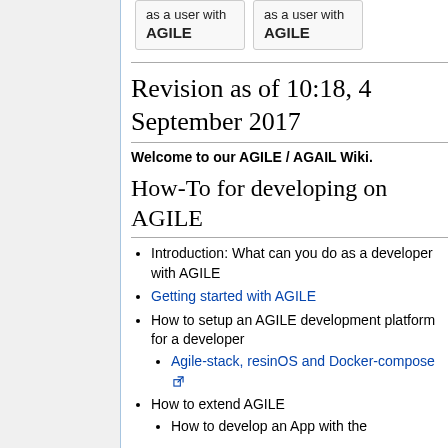[Figure (other): Two card boxes at top showing 'as a user with AGILE' text]
Revision as of 10:18, 4 September 2017
Welcome to our AGILE / AGAIL Wiki.
How-To for developing on AGILE
Introduction: What can you do as a developer with AGILE
Getting started with AGILE
How to setup an AGILE development platform for a developer
Agile-stack, resinOS and Docker-compose
How to extend AGILE
How to develop an App with the